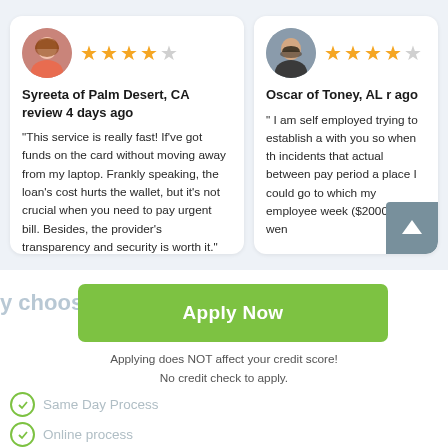[Figure (photo): Avatar photo of Syreeta, a woman with long brown hair]
★★★★☆ (4 out of 5 stars)
Syreeta of Palm Desert, CA review 4 days ago
"This service is really fast! If've got funds on the card without moving away from my laptop. Frankly speaking, the loan's cost hurts the wallet, but it's not crucial when you need to pay urgent bill. Besides, the provider's transparency and security is worth it."
[Figure (photo): Avatar photo of Oscar, a man with short dark hair and beard]
★★★★☆ (4 out of 5 stars)
Oscar of Toney, AL review ... ago
" I am self employed trying to establish a with you so when th incidents that actual between pay period a place I could go to which my employee week ($2000). I wen
y choose us?
Apply Now
Applying does NOT affect your credit score!
No credit check to apply.
Same Day Process
Online process